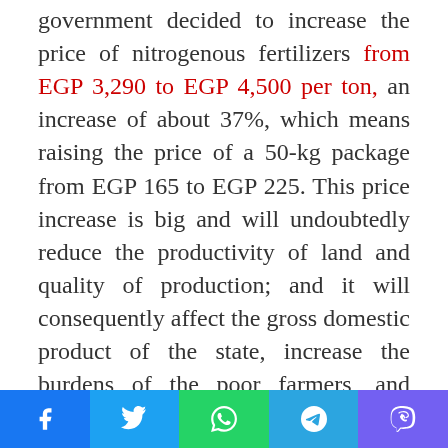government decided to increase the price of nitrogenous fertilizers from EGP 3,290 to EGP 4,500 per ton, an increase of about 37%, which means raising the price of a 50-kg package from EGP 165 to EGP 225. This price increase is big and will undoubtedly reduce the productivity of land and quality of production; and it will consequently affect the gross domestic product of the state, increase the burdens of the poor farmers, and reduce
Social share bar: Facebook, Twitter, WhatsApp, Telegram, Viber